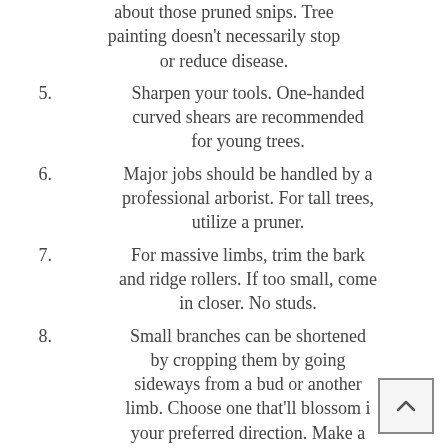about those pruned snips. Tree painting doesn't necessarily stop or reduce disease.
5. Sharpen your tools. One-handed curved shears are recommended for young trees.
6. Major jobs should be handled by a professional arborist. For tall trees, utilize a pruner.
7. For massive limbs, trim the bark and ridge rollers. If too small, come in closer. No studs.
8. Small branches can be shortened by cropping them by going sideways from a bud or another limb. Choose one that'll blossom in your preferred direction. Make a